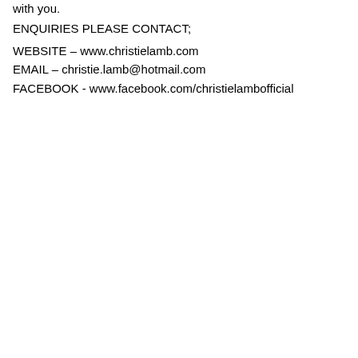with you.
ENQUIRIES PLEASE CONTACT;
WEBSITE – www.christielamb.com
EMAIL – christie.lamb@hotmail.com
FACEBOOK - www.facebook.com/christielambofficial